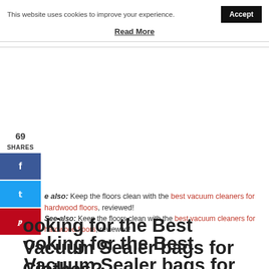This website uses cookies to improve your experience. Accept
Read More
69 SHARES
See also: Keep the floors clean with the best vacuum cleaners for hardwood floors, reviewed!
Looking for the Best Vacuum Sealer bags for Clothes?